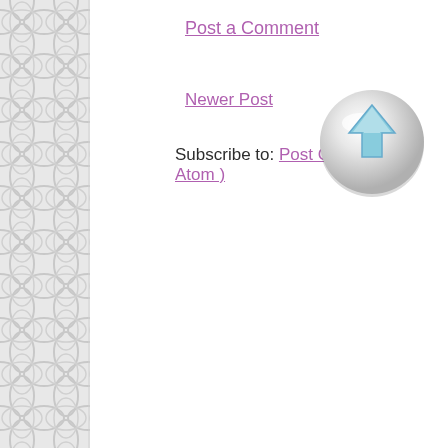[Figure (illustration): Gray trellis/lattice decorative pattern on left sidebar]
Post a Comment
Newer Post    Home
Subscribe to: Post Comments ( Atom )
[Figure (illustration): Glossy circular button with a light blue upward arrow, positioned in upper right area of content]